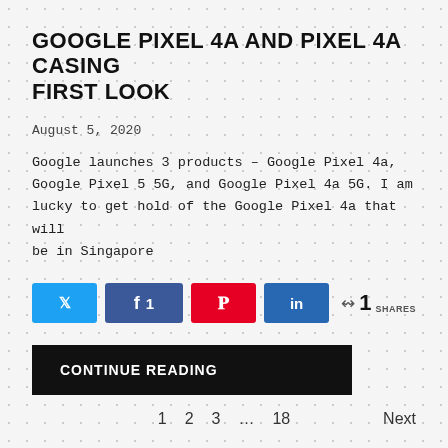GOOGLE PIXEL 4A AND PIXEL 4A CASING FIRST LOOK
August 5, 2020
Google launches 3 products – Google Pixel 4a, Google Pixel 5 5G, and Google Pixel 4a 5G. I am lucky to get hold of the Google Pixel 4a that will be in Singapore
Share buttons: Twitter, Facebook (1), Pinterest, LinkedIn. 1 SHARES
CONTINUE READING
1  2  3  ...  18  Next